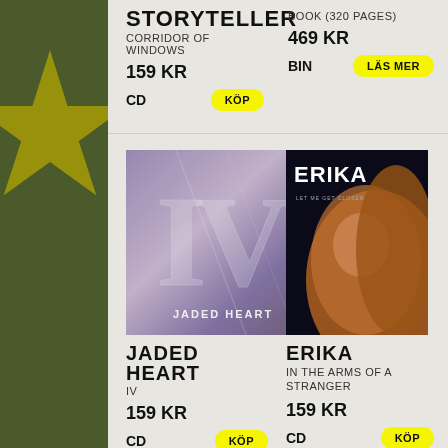STORYTELLER
CORRIDOR OF WINDOWS
159 KR
CD
KÖP
BOOK (320 PAGES)
469 KR
BIN
LÄS MER
[Figure (photo): Album cover for Jaded Heart IV, showing stylized stone/marble texture with large Roman numerals IV and text JADED HEART]
[Figure (photo): Album cover for Erika - In The Arms Of A Stranger, showing artist Erika with blonde hair against dark background with ERIKA text]
JADED HEART
IV
159 KR
CD
KÖP
ERIKA
IN THE ARMS OF A STRANGER
159 KR
CD
KÖP